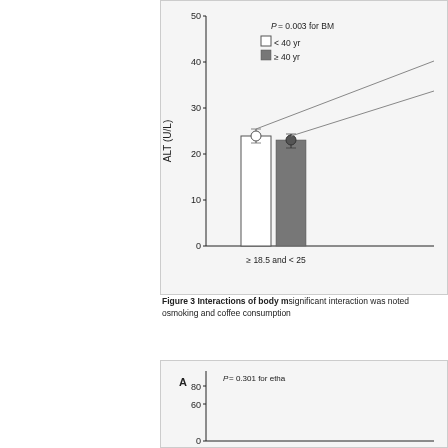[Figure (bar-chart): Grouped bar chart showing ALT (U/L) by BMI category, with two age groups (< 40 yr and ≥ 40 yr). P = 0.003 for BMI interaction. Bars shown for ≥ 18.5 and < 25 BMI group, with values around 24 and 23 for the two age groups respectively.]
Figure 3 Interactions of body m... significant interaction was noted o... smoking and coffee consumption...
[Figure (bar-chart): Partial bar chart visible with y-axis from 0 to 80+, P = 0.301 for ethanol interaction. Panel A label visible.]